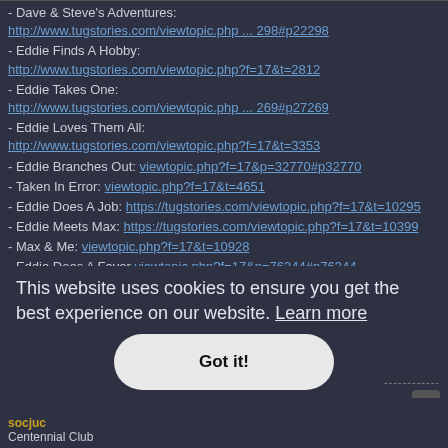- Dave & Steve's Adventures: http://www.tugstories.com/viewtopic.php ... 298#p22298
- Eddie Finds A Hobby: http://www.tugstories.com/viewtopic.php?f=17&t=2812
- Eddie Takes One: http://www.tugstories.com/viewtopic.php ... 269#p27269
- Eddie Loves Them All: http://www.tugstories.com/viewtopic.php?f=17&t=3353
- Eddie Branches Out: viewtopic.php?f=17&p=32770#p32770
- Taken In Error: viewtopic.php?f=17&t=4651
- Eddie Does A Job: https://tugstories.com/viewtopic.php?f=17&t=10295
- Eddie Meets Max: https://tugstories.com/viewtopic.php?f=17&t=10399
- Max & Me: viewtopic.php?f=17&t=10928
- Eddie Does A Favor viewtopic.php?f=17&p=76344#p76344
- Eddie's Surprise viewtopic.php?f=17&t=12242
:12577
This website uses cookies to ensure you get the best experience on our website. Learn more
Got it!
------------
socjuc
Centennial Club